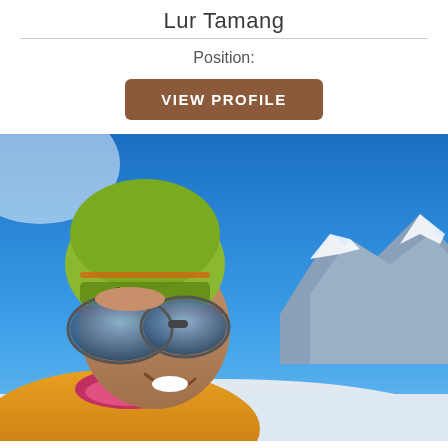Lur Tamang
Position:
VIEW PROFILE
[Figure (photo): A person wearing a green beanie hat with goggles, smiling, with snowy mountains and blue sky in the background. The person is dressed in outdoor winter climbing gear including a yellow jacket and colorful scarf.]